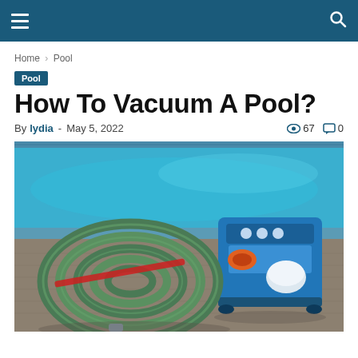Navigation bar with hamburger menu and search icon
Home › Pool
Pool
How To Vacuum A Pool?
By lydia - May 5, 2022 👁 67 💬 0
[Figure (photo): A coiled green pool vacuum hose on pool deck beside a blue pool vacuum machine, with a swimming pool in the background]